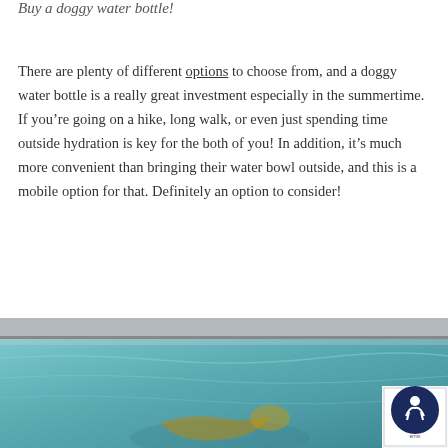Buy a doggy water bottle!
There are plenty of different options to choose from, and a doggy water bottle is a really great investment especially in the summertime. If you’re going on a hike, long walk, or even just spending time outside hydration is key for the both of you! In addition, it’s much more convenient than bringing their water bowl outside, and this is a mobile option for that. Definitely an option to consider!
[Figure (photo): A dog swimming in a pool, viewed from above showing the pool edge and blue water]